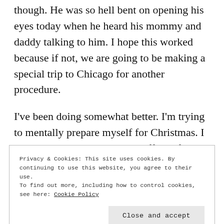though. He was so hell bent on opening his eyes today when he heard his mommy and daddy talking to him. I hope this worked because if not, we are going to be making a special trip to Chicago for another procedure.
I've been doing somewhat better. I'm trying to mentally prepare myself for Christmas. I know it's going to be a little difficult for me. I'm not going to be able to fly to Vegas to be with my
Privacy & Cookies: This site uses cookies. By continuing to use this website, you agree to their use.
To find out more, including how to control cookies, see here: Cookie Policy
Close and accept